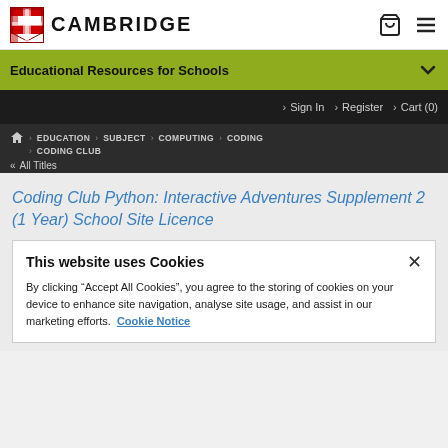CAMBRIDGE
Educational Resources for Schools
> Sign In  > Register  > Cart (0)
Home > EDUCATION > SUBJECT > COMPUTING > CODING > CODING CLUB
<< All Titles
Coding Club Python: Interactive Adventures Supplement 2 (1 Year) School Site Licence
This website uses Cookies
By clicking “Accept All Cookies”, you agree to the storing of cookies on your device to enhance site navigation, analyse site usage, and assist in our marketing efforts. Cookie Notice